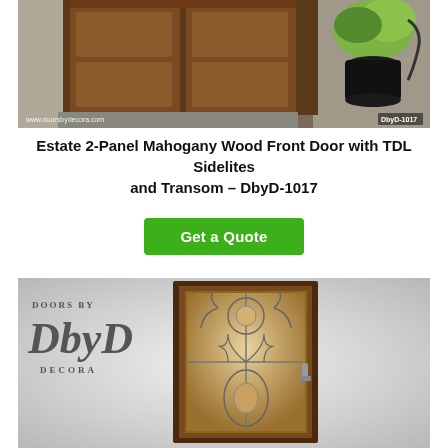[Figure (photo): Photo of Estate 2-Panel Mahogany Wood Front Door with TDL Sidelites and Transom from exterior view. Shows double wooden doors with brick surround and potted plant. Watermark: www.doorsbydecora.com, code: DbyD-1017]
Estate 2-Panel Mahogany Wood Front Door with TDL Sidelites and Transom – DbyD-1017
Get a Quote
[Figure (photo): Photo of a single door with decorative leaded glass insert featuring ornate floral/scroll pattern in amber and clear glass. Door has dark mahogany frame. Doors by DbyD Decora logo watermark visible in upper left.]